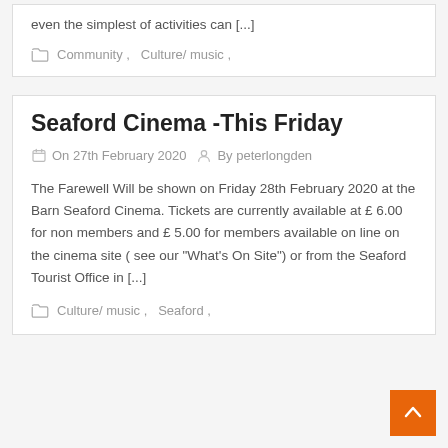even the simplest of activities can [...]
Community ,   Culture/ music ,
Seaford Cinema -This Friday
On 27th February 2020   By peterlongden
The Farewell Will be shown on Friday 28th February 2020 at the Barn Seaford Cinema. Tickets are currently available at £ 6.00 for non members and £ 5.00 for members available on line on the cinema site ( see our "What's On Site") or from the Seaford Tourist Office in [...]
Culture/ music ,   Seaford ,